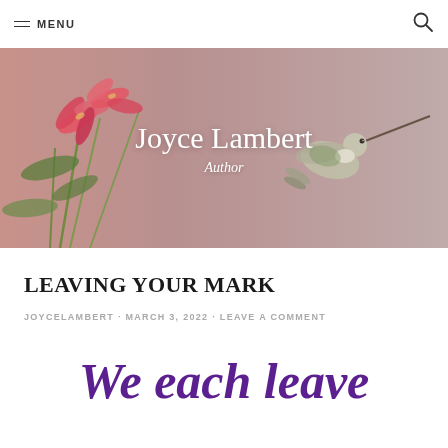MENU
[Figure (photo): Hero banner image showing pink tropical flowers on left and a hummingbird with long beak on right, on a warm pinkish-beige background. Centered text reads 'Joyce Lambert' and 'Author'.]
LEAVING YOUR MARK
JOYCELAMBERT · MARCH 3, 2022 · LEAVE A COMMENT
We each leave